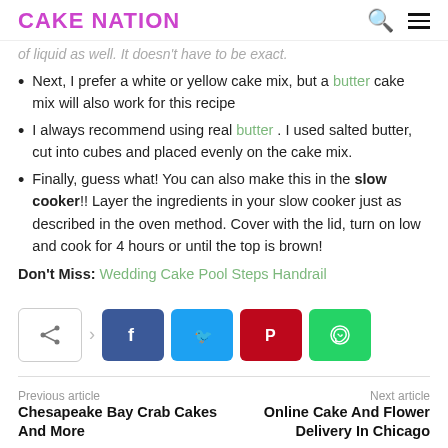CAKE NATION
of liquid as well. It doesn't have to be exact.
Next, I prefer a white or yellow cake mix, but a butter cake mix will also work for this recipe
I always recommend using real butter. I used salted butter, cut into cubes and placed evenly on the cake mix.
Finally, guess what! You can also make this in the slow cooker!! Layer the ingredients in your slow cooker just as described in the oven method. Cover with the lid, turn on low and cook for 4 hours or until the top is brown!
Don't Miss: Wedding Cake Pool Steps Handrail
[Figure (infographic): Social sharing buttons: share icon, Facebook, Twitter, Pinterest, WhatsApp]
Previous article: Chesapeake Bay Crab Cakes And More | Next article: Online Cake And Flower Delivery In Chicago